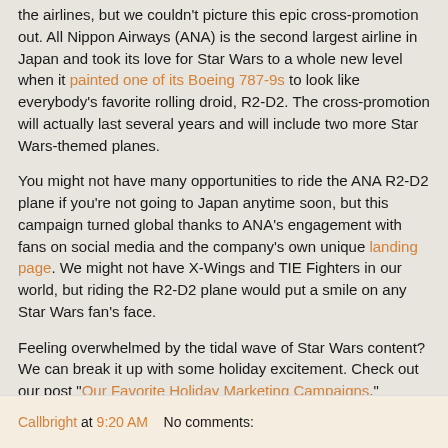the airlines, but we couldn't picture this epic cross-promotion out. All Nippon Airways (ANA) is the second largest airline in Japan and took its love for Star Wars to a whole new level when it painted one of its Boeing 787-9s to look like everybody's favorite rolling droid, R2-D2. The cross-promotion will actually last several years and will include two more Star Wars-themed planes.
You might not have many opportunities to ride the ANA R2-D2 plane if you're not going to Japan anytime soon, but this campaign turned global thanks to ANA's engagement with fans on social media and the company's own unique landing page. We might not have X-Wings and TIE Fighters in our world, but riding the R2-D2 plane would put a smile on any Star Wars fan's face.
Feeling overwhelmed by the tidal wave of Star Wars content? We can break it up with some holiday excitement. Check out our post "Our Favorite Holiday Marketing Campaigns."
Callbright at 9:20 AM   No comments: